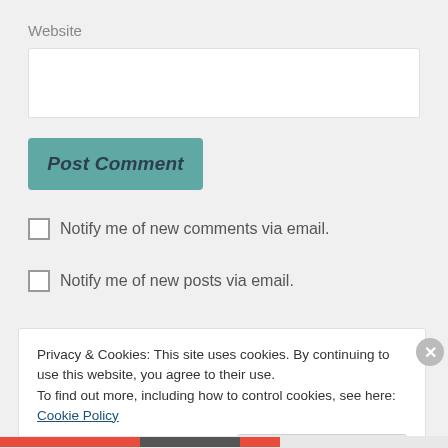Website
[Figure (other): Text input field for website URL]
[Figure (other): Post Comment button - teal colored button with italic bold text]
Notify me of new comments via email.
Notify me of new posts via email.
Privacy & Cookies: This site uses cookies. By continuing to use this website, you agree to their use.
To find out more, including how to control cookies, see here: Cookie Policy
Close and accept